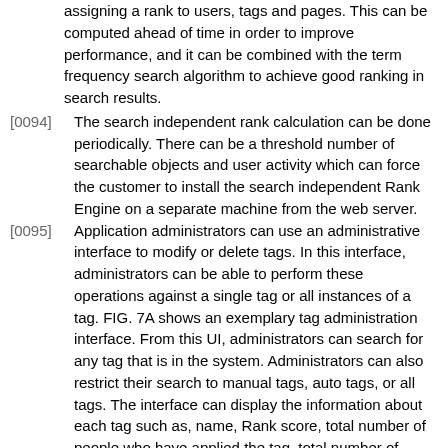assigning a rank to users, tags and pages. This can be computed ahead of time in order to improve performance, and it can be combined with the term frequency search algorithm to achieve good ranking in search results.
[0094] The search independent rank calculation can be done periodically. There can be a threshold number of searchable objects and user activity which can force the customer to install the search independent Rank Engine on a separate machine from the web server.
[0095] Application administrators can use an administrative interface to modify or delete tags. In this interface, administrators can be able to perform these operations against a single tag or all instances of a tag. FIG. 7A shows an exemplary tag administration interface. From this UI, administrators can search for any tag that is in the system. Administrators can also restrict their search to manual tags, auto tags, or all tags. The interface can display the information about each tag such as, name, Rank score, total number of people who have applied the tag, total number of